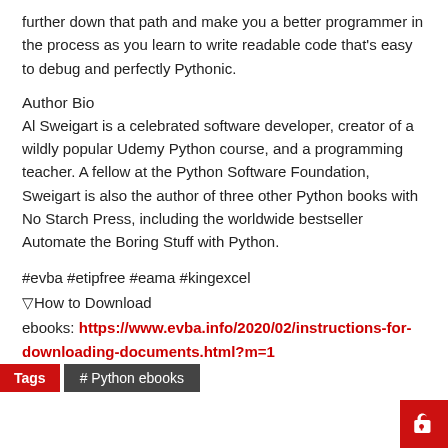further down that path and make you a better programmer in the process as you learn to write readable code that's easy to debug and perfectly Pythonic.
Author Bio
Al Sweigart is a celebrated software developer, creator of a wildly popular Udemy Python course, and a programming teacher. A fellow at the Python Software Foundation, Sweigart is also the author of three other Python books with No Starch Press, including the worldwide bestseller Automate the Boring Stuff with Python.
#evba #etipfree #eama #kingexcel
▽How to Download
ebooks: https://www.evba.info/2020/02/instructions-for-downloading-documents.html?m=1
Tags  # Python ebooks